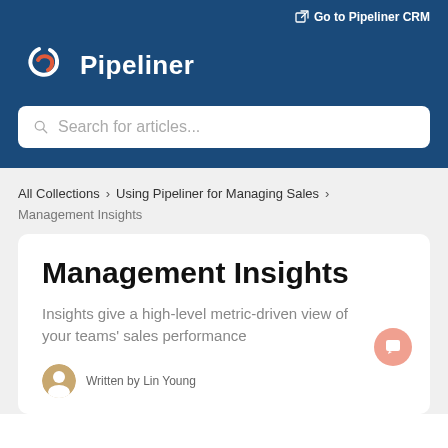Go to Pipeliner CRM
Pipeliner
Search for articles...
All Collections > Using Pipeliner for Managing Sales >
Management Insights
Management Insights
Insights give a high-level metric-driven view of your teams' sales performance
Written by Lin Young